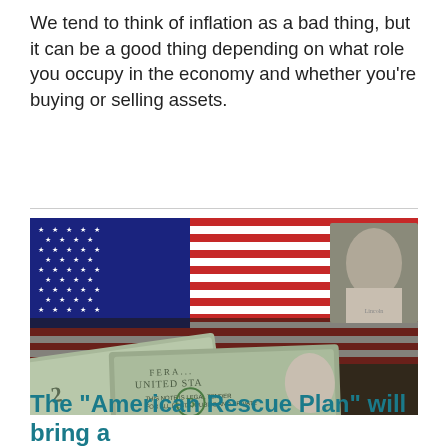We tend to think of inflation as a bad thing, but it can be a good thing depending on what role you occupy in the economy and whether you're buying or selling assets.
[Figure (photo): Photo of an American flag draped over US dollar bills including a $1 bill showing George Washington and a $2 bill showing Abraham Lincoln, with 'UNITED STATES' and 'THIS NOTE IS LEGAL TENDER FOR ALL DEBTS, PUBLIC AND PRIVATE' visible on the currency.]
The "American Rescue Plan" will bring a